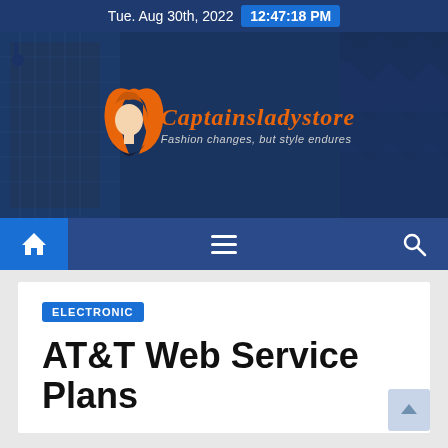Tue. Aug 30th, 2022  12:47:18 PM
[Figure (logo): Captainsladystore website hero banner with logo of a woman's profile with orange hair, site name 'Captainsladystore' in orange italic script, and tagline 'Fashion changes, but style endures' on a dark blue background with building imagery]
[Figure (screenshot): Navigation bar with home icon button (blue highlight), hamburger menu icon, and search icon on dark navy background]
ELECTRONIC
AT&T Web Service Plans